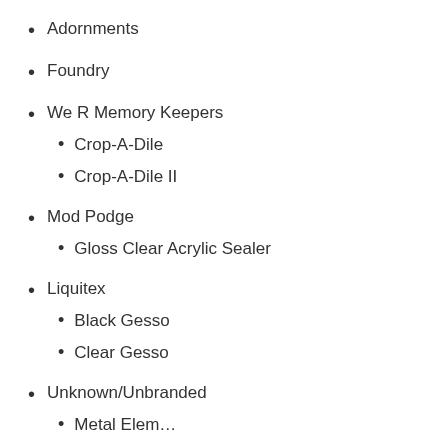Adornments
Foundry
We R Memory Keepers
Crop-A-Dile
Crop-A-Dile II
Mod Podge
Gloss Clear Acrylic Sealer
Liquitex
Black Gesso
Clear Gesso
Unknown/Unbranded
Metal Elem…